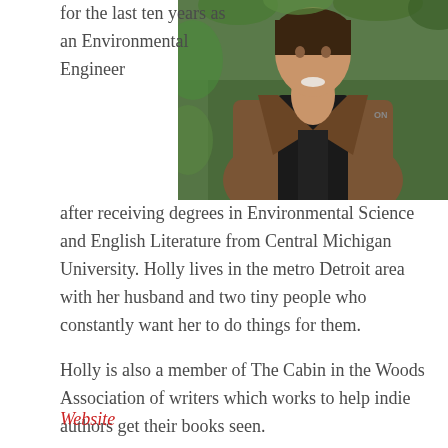[Figure (photo): Portrait photo of a woman wearing a brown leather jacket over a black top, standing outdoors with green foliage in the background.]
for the last ten years as an Environmental Engineer after receiving degrees in Environmental Science and English Literature from Central Michigan University. Holly lives in the metro Detroit area with her husband and two tiny people who constantly want her to do things for them.

Holly is also a member of The Cabin in the Woods Association of writers which works to help indie authors get their books seen.
Website